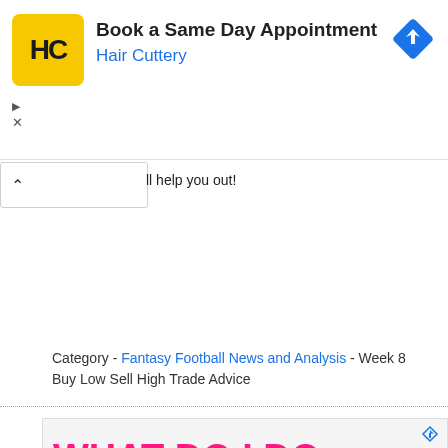[Figure (screenshot): Hair Cuttery advertisement banner: yellow HC logo, 'Book a Same Day Appointment' title, 'Hair Cuttery' subtitle in blue, blue diamond navigation icon top right, ad indicator triangle and X bottom left]
ll help you out!
Category - Fantasy Football News and Analysis - Week 8 Buy Low Sell High Trade Advice
[Figure (screenshot): Insurance advertisement with large hot pink bold text 'WHAT DO I DO WHEN I LOSE MY HEALTH PLAN?' on light grey background, with a photo of a person below]